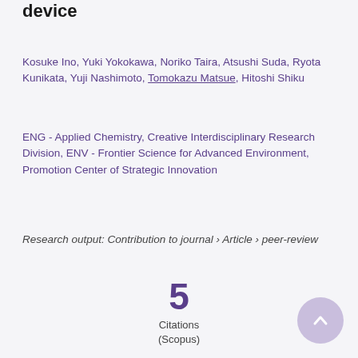device
Kosuke Ino, Yuki Yokokawa, Noriko Taira, Atsushi Suda, Ryota Kunikata, Yuji Nashimoto, Tomokazu Matsue, Hitoshi Shiku
ENG - Applied Chemistry, Creative Interdisciplinary Research Division, ENV - Frontier Science for Advanced Environment, Promotion Center of Strategic Innovation
Research output: Contribution to journal › Article › peer-review
5
Citations
(Scopus)